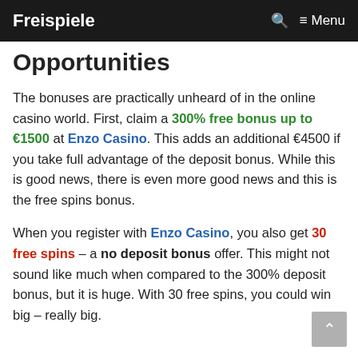Freispiele   Menu
Opportunities
The bonuses are practically unheard of in the online casino world. First, claim a 300% free bonus up to €1500 at Enzo Casino. This adds an additional €4500 if you take full advantage of the deposit bonus. While this is good news, there is even more good news and this is the free spins bonus.
When you register with Enzo Casino, you also get 30 free spins – a no deposit bonus offer. This might not sound like much when compared to the 300% deposit bonus, but it is huge. With 30 free spins, you could win big – really big.